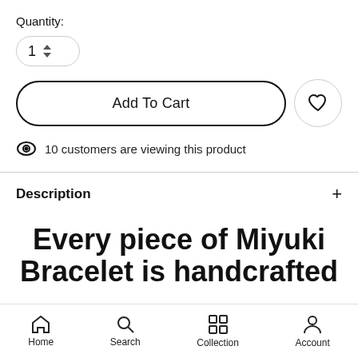Quantity:
Add To Cart
10 customers are viewing this product
Description
Every piece of Miyuki Bracelet is handcrafted
Home  Search  Collection  Account